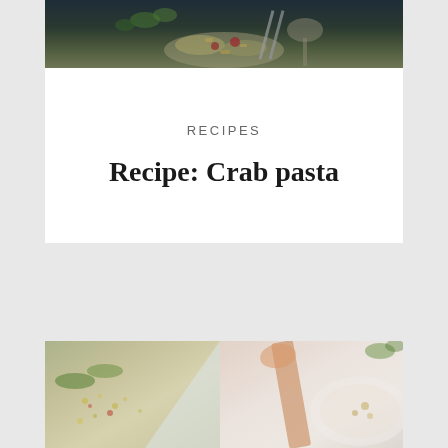[Figure (photo): Close-up food photo of pasta dish on dark background with fork, herbs visible at top]
RECIPES
Recipe: Crab pasta
[Figure (photo): Two faded/washed-out food photos side by side at the bottom — left shows a bowl of grain or salad, right shows a wooden spoon and bowl with food]